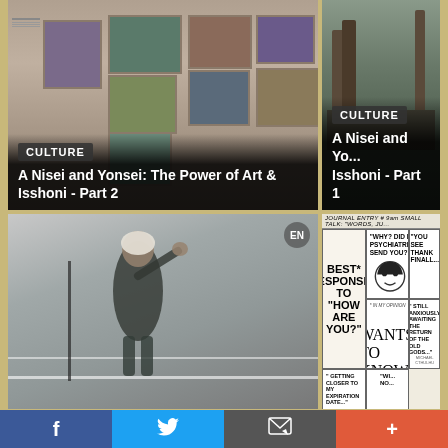[Figure (photo): Art gallery wall with paintings, overlaid with CULTURE badge and title text 'A Nisei and Yonsei: The Power of Art & Isshoni - Part 2']
[Figure (photo): Sepia/dark forest or landscape photo, partially visible, with CULTURE badge and truncated title 'A Nisei and Yo... Isshoni - Part 1']
[Figure (photo): Black and white photograph of a woman waving on a ship or dock, with EN badge overlay]
[Figure (illustration): Comic strip panel: 'Best* Responses To How Are You?' with multiple panels showing characters and humorous responses about psychiatrist, old gods, expiration date]